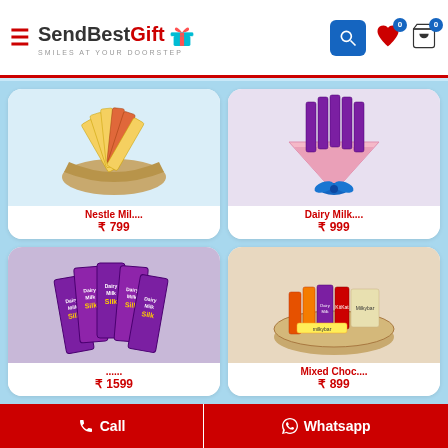SendBestGift — SMILES AT YOUR DOORSTEP
[Figure (photo): Nestle Milkybar chocolate bars arranged in a wicker basket]
Nestle Mil....
₹ 799
[Figure (photo): Dairy Milk chocolate bouquet wrapped in pink paper with blue bow]
Dairy Milk....
₹ 999
[Figure (photo): Cadbury Dairy Milk Silk chocolate bars stacked together]
₹ 1599
[Figure (photo): Mixed chocolate assortment in a wicker tray including KitKat, Dairy Milk, Milkybar]
Mixed Choc....
₹ 899